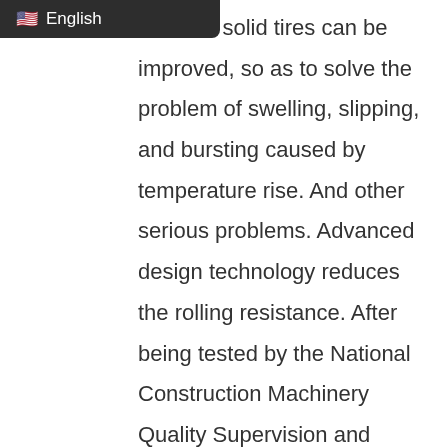English
tance of solid tires can be improved, so as to solve the problem of swelling, slipping, and bursting caused by temperature rise. And other serious problems. Advanced design technology reduces the rolling resistance. After being tested by the National Construction Machinery Quality Supervision and Inspection Center, it was found that the coefficient of rolling resistance of solid tires is equivalent to that of pneumatic tires, which can easily solve the problem of increased fuel consumption caused by changing to solid